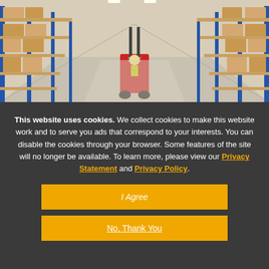[Figure (photo): Warehouse interior with tall shelving racks stacked with boxes on both sides, and a red forklift operated by a worker in a yellow vest driving down the center aisle.]
This website uses cookies. We collect cookies to make this website work and to serve you ads that correspond to your interests. You can disable the cookies through your browser. Some features of the site will no longer be available. To learn more, please view our Privacy Statement and Privacy Policy.
I Agree
No, Thank You